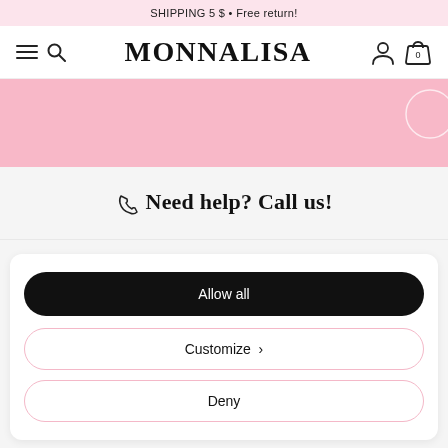SHIPPING 5 $ • Free return!
MONNALISA
[Figure (illustration): Pink banner with partial circle graphic on right side]
☎ Need help? Call us!
Allow all
Customize ›
Deny
LEGAL AREA